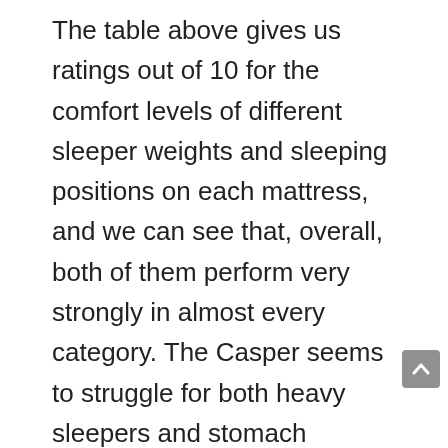The table above gives us ratings out of 10 for the comfort levels of different sleeper weights and sleeping positions on each mattress, and we can see that, overall, both of them perform very strongly in almost every category. The Casper seems to struggle for both heavy sleepers and stomach sleepers when compared to the Brooklyn Bedding, which has no real obvious weaknesses and is especially strong for back sleepers. The ratings show us that, despite being the cheaper model of the two, the Brooklyn Bedding is actually more universally comfortable and therefore more versatile